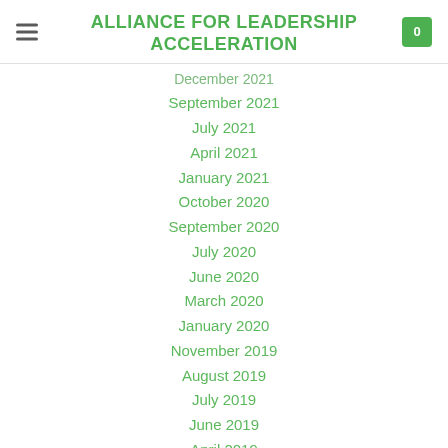ALLIANCE FOR LEADERSHIP ACCELERATION
December 2021
September 2021
July 2021
April 2021
January 2021
October 2020
September 2020
July 2020
June 2020
March 2020
January 2020
November 2019
August 2019
July 2019
June 2019
April 2019
March 2019
February 2019
March 2018